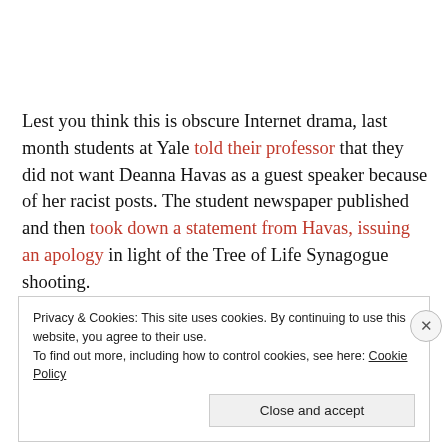Lest you think this is obscure Internet drama, last month students at Yale told their professor that they did not want Deanna Havas as a guest speaker because of her racist posts. The student newspaper published and then took down a statement from Havas, issuing an apology in light of the Tree of Life Synagogue shooting.
Privacy & Cookies: This site uses cookies. By continuing to use this website, you agree to their use. To find out more, including how to control cookies, see here: Cookie Policy
Close and accept